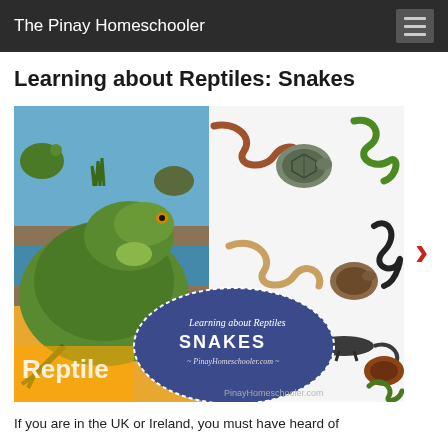The Pinay Homeschooler
Learning about Reptiles: Snakes
[Figure (photo): Photo showing a reptiles book open alongside plastic toy reptile animals including snakes, turtles, and lizards. An overlay badge reads 'Learning about Reptiles SNAKES – PinayHomeschooler.com'. Watermark at bottom: PinayHomeschooler.com]
If you are in the UK or Ireland, you must have heard of